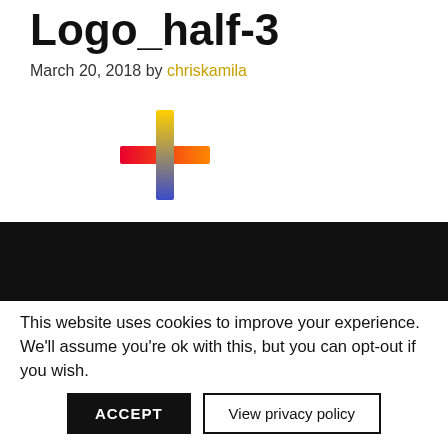Logo_half-3
March 20, 2018 by chriskamila
[Figure (logo): Colorful plus/cross logo with gradient colors: red on left arm, yellow on top arm, blue/purple on right arm, forming a plus sign]
[Figure (photo): Dark/black background section]
CHRIS SKINNER
This website uses cookies to improve your experience. We'll assume you're ok with this, but you can opt-out if you wish.
ACCEPT   View privacy policy